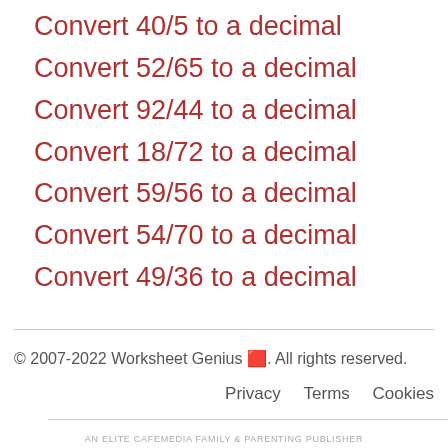Convert 40/5 to a decimal
Convert 52/65 to a decimal
Convert 92/44 to a decimal
Convert 18/72 to a decimal
Convert 59/56 to a decimal
Convert 54/70 to a decimal
Convert 49/36 to a decimal
© 2007-2022 Worksheet Genius 🅶. All rights reserved. Privacy Terms Cookies AN ELITE CAFEMEDIA FAMILY & PARENTING PUBLISHER